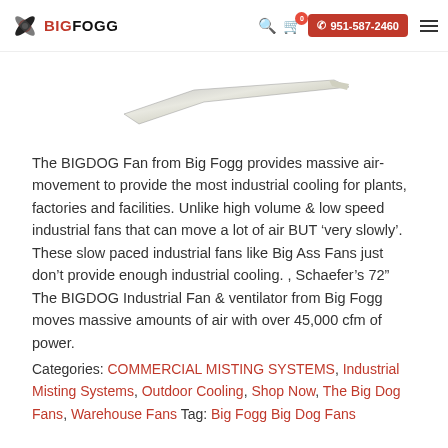BIG FOGG | 951-587-2460
[Figure (photo): Fan blade product image, angled metallic blade on white background]
The BIGDOG Fan from Big Fogg provides massive air-movement to provide the most industrial cooling for plants, factories and facilities. Unlike high volume & low speed industrial fans that can move a lot of air BUT 'very slowly'. These slow paced industrial fans like Big Ass Fans just don't provide enough industrial cooling. , Schaefer's 72" The BIGDOG Industrial Fan & ventilator from Big Fogg moves massive amounts of air with over 45,000 cfm of power.
Categories: COMMERCIAL MISTING SYSTEMS, Industrial Misting Systems, Outdoor Cooling, Shop Now, The Big Dog Fans, Warehouse Fans Tag: Big Fogg Big Dog Fans